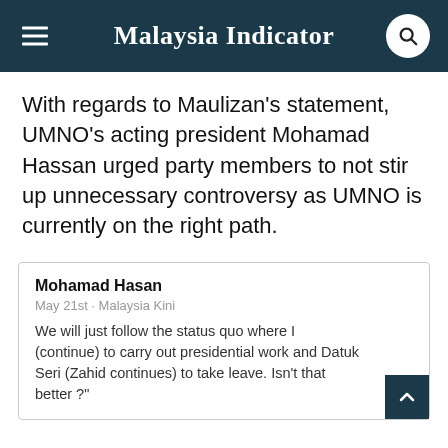Malaysia Indicator
With regards to Maulizan's statement, UMNO's acting president Mohamad Hassan urged party members to not stir up unnecessary controversy as UMNO is currently on the right path.
Mohamad Hasan
May 21st · Malaysia Kini
We will just follow the status quo where I (continue) to carry out presidential work and Datuk Seri (Zahid continues) to take leave. Isn't that better ?"